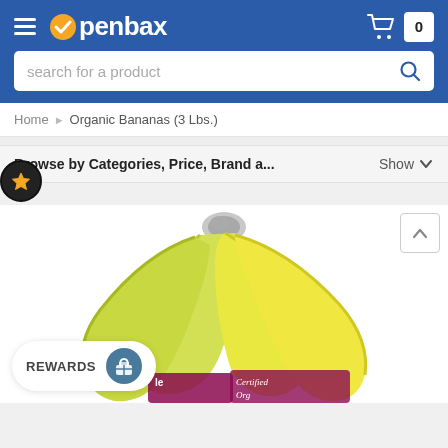openbax — navigation header with hamburger menu, logo, cart (0), and search bar
Home > Organic Bananas (3 Lbs.)
Browse by Categories, Price, Brand a...  Show ∨
[Figure (photo): A bunch of organic bananas with a Dole Certified Organic label visible at the bottom, displayed on a white background product page.]
REWARDS